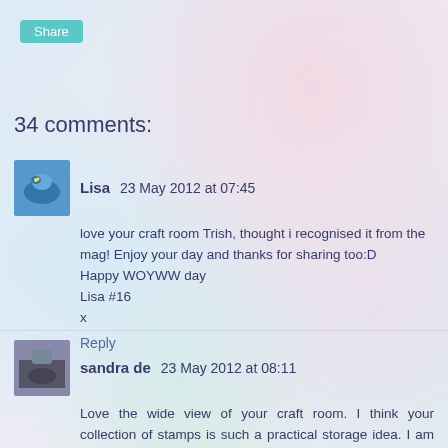[Figure (screenshot): Share button (teal/cyan rounded rectangle button labeled 'Share')]
34 comments:
Lisa 23 May 2012 at 07:45
love your craft room Trish, thought i recognised it from the mag! Enjoy your day and thanks for sharing too:D
Happy WOYWW day
Lisa #16
x
Reply
sandra de 23 May 2012 at 08:11
Love the wide view of your craft room. I think your collection of stamps is such a practical storage idea. I am forever rummaging in boxes looking for that one stamp. Your idea would solve that problem. Have a lovely week.
Sandra @57